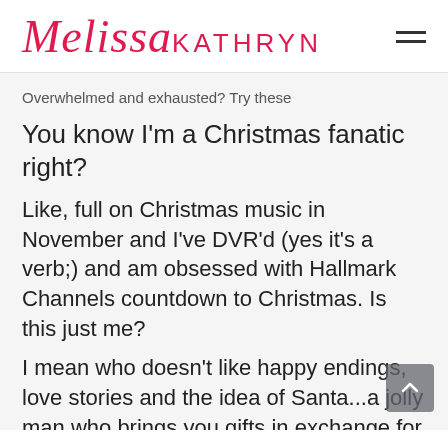MelissaKATHRYN
Overwhelmed and exhausted? Try these
You know I'm a Christmas fanatic right?
Like, full on Christmas music in November and I've DVR'd (yes it's a verb;) and am obsessed with Hallmark Channels countdown to Christmas. Is this just me?
I mean who doesn't like happy endings, love stories and the idea of Santa...a jolly man who brings you gifts in exchange for